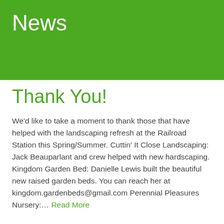News
Thank You!
We'd like to take a moment to thank those that have helped with the landscaping refresh at the Railroad Station this Spring/Summer. Cuttin' It Close Landscaping: Jack Beauparlant and crew helped with new hardscaping. Kingdom Garden Bed: Danielle Lewis built the beautiful new raised garden beds. You can reach her at kingdom.gardenbeds@gmail.com Perennial Pleasures Nursery:… Read More